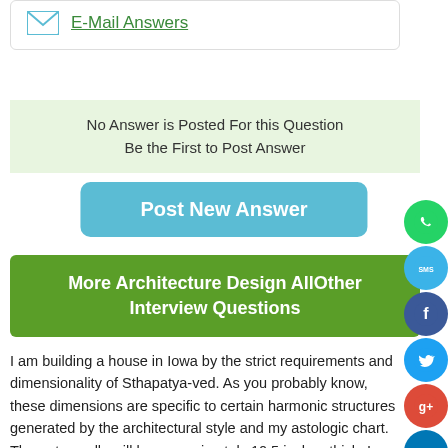E-Mail Answers
No Answer is Posted For this Question
Be the First to Post Answer
Post New Answer
More Architecture Design AllOther Interview Questions
I am building a house in Iowa by the strict requirements and dimensionality of Sthapatya-ved. As you probably know, these dimensions are specific to certain harmonic structures generated by the architectural style and my astologic chart. The outer walls will be approximately 10.5 inches thick. I would like to use some sort of straw/clay mixture, but I also live in a very cold climate. It is not unusual to have -10 degree temperatures for several weeks on end. I have friends who